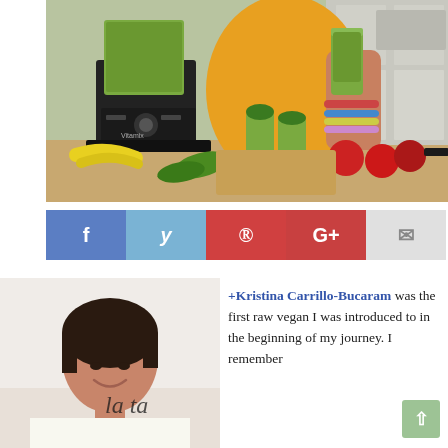[Figure (photo): Woman in yellow top holding a green smoothie next to a Vitamix blender in a kitchen, with bananas, apples, and green smoothies on the counter]
[Figure (infographic): Social sharing bar with Facebook (blue), Twitter (light blue), Pinterest (red), Google+ (red), and Email (gray) buttons]
[Figure (photo): Portrait photo of Kristina Carrillo-Bucaram smiling, with dark hair, next to cursive text]
+Kristina Carrillo-Bucaram was the first raw vegan I was introduced to in the beginning of my journey. I remember